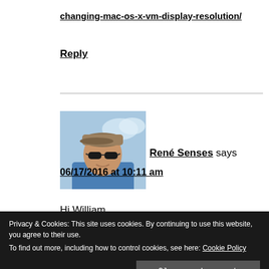changing-mac-os-x-vm-display-resolution/
Reply
[Figure (photo): Profile photo of René Senses, a man wearing sunglasses and a cap, outdoors]
René Senses says
06/17/2016 at 10:11 am
Hi William,
Privacy & Cookies: This site uses cookies. By continuing to use this website, you agree to their use. To find out more, including how to control cookies, see here: Cookie Policy
Close and accept